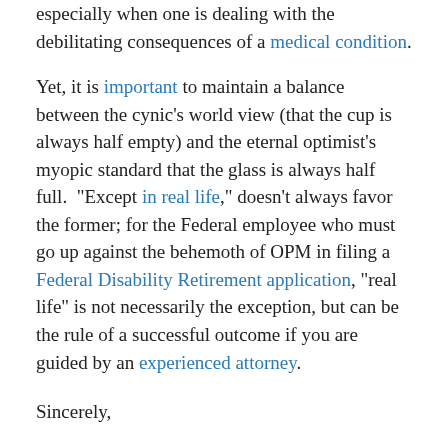especially when one is dealing with the debilitating consequences of a medical condition.
Yet, it is important to maintain a balance between the cynic's world view (that the cup is always half empty) and the eternal optimist's myopic standard that the glass is always half full. "Except in real life," doesn't always favor the former; for the Federal employee who must go up against the behemoth of OPM in filing a Federal Disability Retirement application, "real life" is not necessarily the exception, but can be the rule of a successful outcome if you are guided by an experienced attorney.
Sincerely,
Robert R.McGill, Esquire